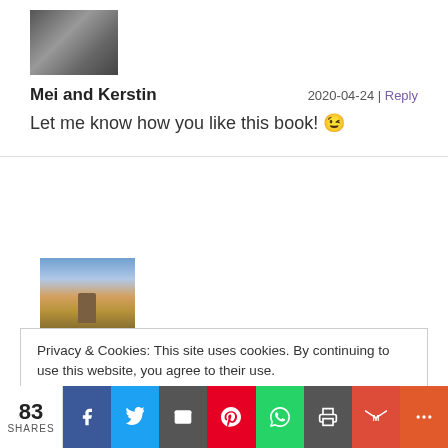[Figure (photo): Black and white photo of two people (avatar for Mei and Kerstin)]
Mei and Kerstin
2020-04-24 | Reply
Let me know how you like this book! 😉
[Figure (photo): Color photo of a person standing in a field under a cloudy sky (second commenter avatar)]
Privacy & Cookies: This site uses cookies. By continuing to use this website, you agree to their use.
To find out more, including how to control cookies, see here: Cookie Policy
83 SHARES